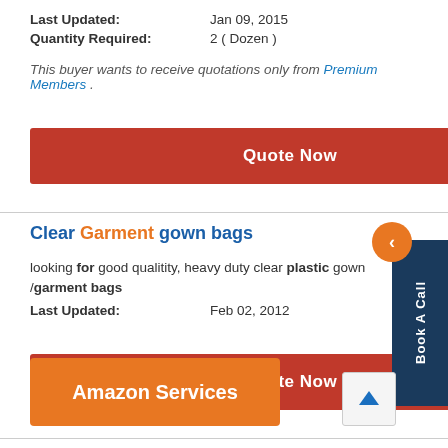Last Updated: Jan 09, 2015
Quantity Required: 2 ( Dozen )
This buyer wants to receive quotations only from Premium Members .
Quote Now
Clear Garment gown bags
looking for good qualitity, heavy duty clear plastic gown /garment bags
Last Updated: Feb 02, 2012
Quote Now
Amazon Services
The machine suitable for blowing high density polyethylene HDPE,